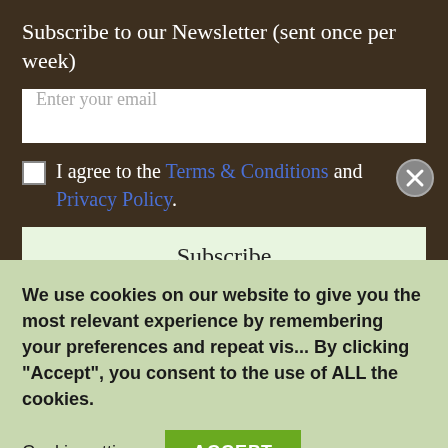Subscribe to our Newsletter (sent once per week)
Enter your email
I agree to the Terms & Conditions and Privacy Policy.
Subscribe
Well here goes nothing, our very first blog post. My wife and I h...
We use cookies on our website to give you the most relevant experience by remembering your preferences and repeat vis... By clicking "Accept", you consent to the use of ALL the cookies.
Cookie settings
ACCEPT